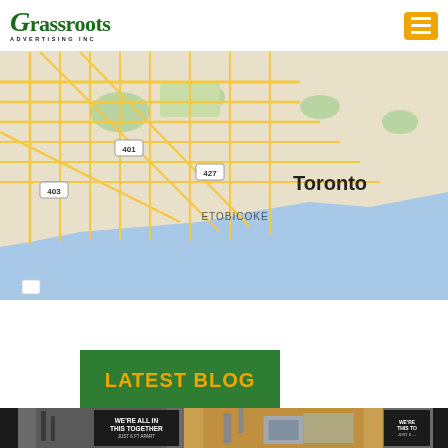[Figure (logo): Grassroots Advertising Inc. logo in green with italic G]
[Figure (screenshot): Google Maps screenshot showing Toronto, Etobicoke, Mississauga area with Lake Ontario, highways 401, 427, 403]
LATEST BLOG
[Figure (photo): Row of three blog post thumbnail photos showing 'We're All In This Together' signage and street scenes]